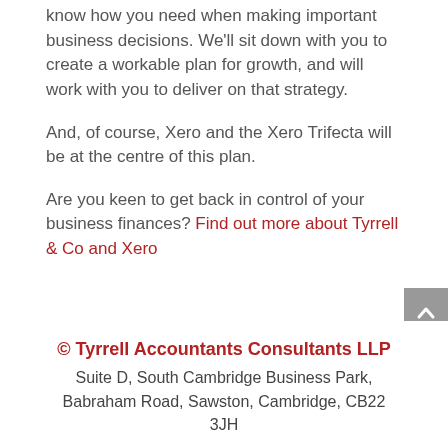know how you need when making important business decisions. We'll sit down with you to create a workable plan for growth, and will work with you to deliver on that strategy.
And, of course, Xero and the Xero Trifecta will be at the centre of this plan.
Are you keen to get back in control of your business finances? Find out more about Tyrrell & Co and Xero
© Tyrrell Accountants Consultants LLP
Suite D, South Cambridge Business Park, Babraham Road, Sawston, Cambridge, CB22 3JH